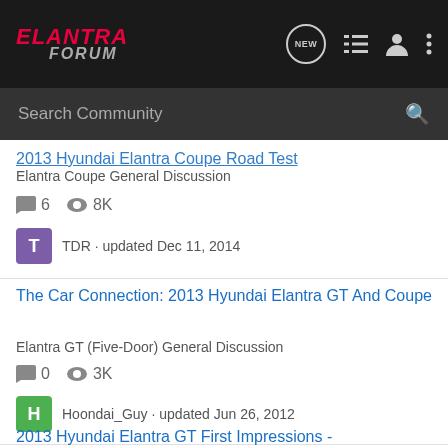ELANTRA FORUM — navigation header with logo, NEW, list, user, more icons
Search Community
2013 Hyundai Elantra Coupe Road Test
Elantra Coupe General Discussion
6 replies · 8K views
TDR · updated Dec 11, 2014
The Car Connection: 2013 Hyundai Elantra GT And Coupe
Elantra GT (Five-Door) General Discussion
0 replies · 3K views
Hoondai_Guy · updated Jun 26, 2012
2013 Hyundai Elantra GT First Impressions -